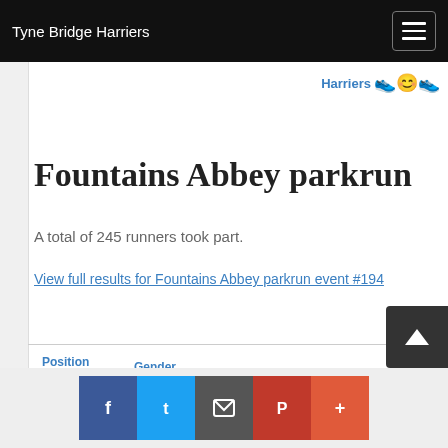Tyne Bridge Harriers
Harriers 👟😊👟
Fountains Abbey parkrun
A total of 245 runners took part.
View full results for Fountains Abbey parkrun event #194
| Position | Gender Position | parkrunner | Club |
| --- | --- | --- | --- |